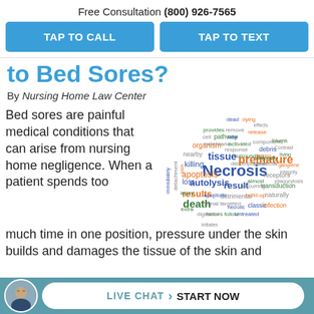Free Consultation (800) 926-7565
TAP TO CALL
TAP TO TEXT
to Bed Sores?
By Nursing Home Law Center
Bed sores are painful medical conditions that can arise from nursing home negligence. When a patient spends too much time in one position, pressure under the skin builds and damages the tissue of the skin and
[Figure (illustration): Word cloud featuring medical/scientific terms related to necrosis and cell death, including words like Necrosis, tissue, premature, autolysis, killing, apoptosis, loss, result, results, death, and many others in various colors (blue, orange, green, red).]
LIVE CHAT  START NOW